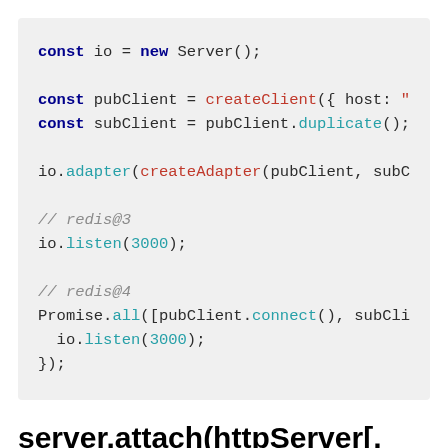[Figure (screenshot): Code block showing JavaScript code for Socket.IO server with Redis adapter setup. Lines: const io = new Server(); const pubClient = createClient({ host: "loca...; const subClient = pubClient.duplicate(); io.adapter(createAdapter(pubClient, subClien...; // redis@3; io.listen(3000); // redis@4; Promise.all([pubClient.connect(), subClient....; io.listen(3000); });]
server.attach(httpServer[, options])